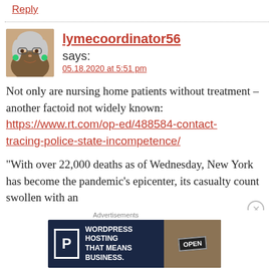Reply
lymecoordinator56 says:
05.18.2020 at 5:51 pm
Not only are nursing home patients without treatment – another factoid not widely known: https://www.rt.com/op-ed/488584-contact-tracing-police-state-incompetence/
“With over 22,000 deaths as of Wednesday, New York has become the pandemic’s epicenter, its casualty count swollen with an
[Figure (screenshot): WordPress Hosting advertisement banner with P logo and OPEN sign]
Advertisements